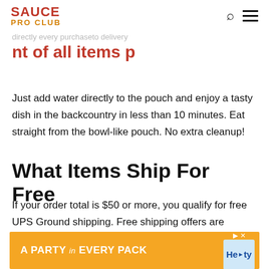SAUCE PRO CLUB
Just add water directly to the pouch and enjoy a tasty dish in the backcountry in less than 10 minutes. Eat straight from the bowl-like pouch. No extra cleanup!
What Items Ship For Free
If your order total is $50 or more, you qualify for free UPS Ground shipping. Free shipping offers are applied to your order total after any promotions or credits are applied. Large or heavy items such as bicycles, paddle boards, kayaks, cargo boxes, and more may not qualify for our free shipping offer or may only be available for in-store pickup. For products with...
[Figure (other): Advertisement banner: orange background with text 'A PARTY in EVERY PACK' and Hefty logo]